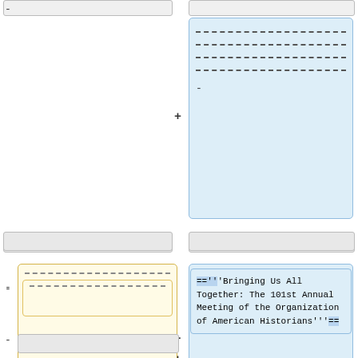[Figure (screenshot): Wikipedia diff view showing deletion (yellow/left) and addition (blue/right) of wiki markup. Left column shows removed content including dashes and text. Right column shows added content including the heading =='''Bringing Us All Together: The 101st Annual Meeting of the Organization of American Historians'''==]
=='''Bringing Us All Together: The 101st Annual Meeting of the Organization of American Historians'''==
'''Bringing Us All Together:'''
The 101st Annual